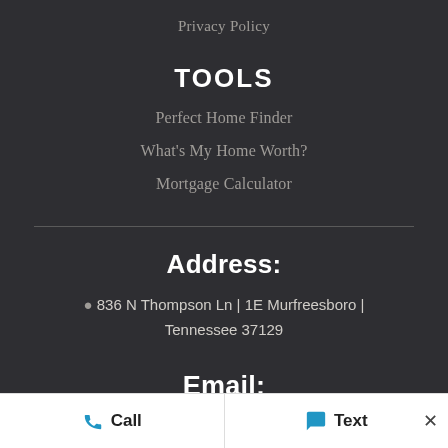Privacy Policy
TOOLS
Perfect Home Finder
What's My Home Worth?
Mortgage Calculator
Address:
836 N Thompson Ln | 1E Murfreesboro | Tennessee 37129
Call   Text   ×